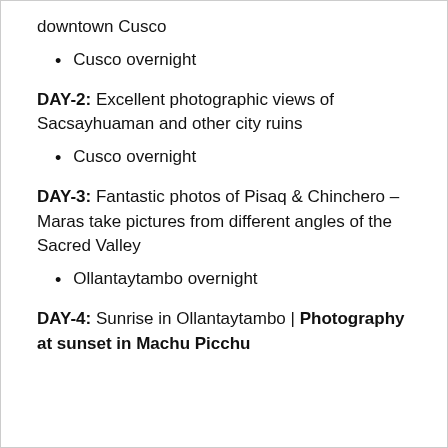downtown Cusco
Cusco overnight
DAY-2: Excellent photographic views of Sacsayhuaman and other city ruins
Cusco overnight
DAY-3: Fantastic photos of Pisaq & Chinchero – Maras take pictures from different angles of the Sacred Valley
Ollantaytambo overnight
DAY-4: Sunrise in Ollantaytambo | Photography at sunset in Machu Picchu